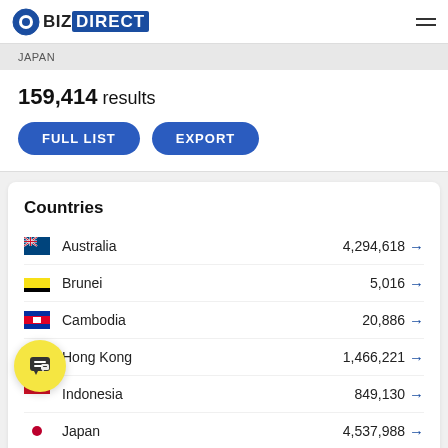BizDirect
JAPAN
159,414 results
FULL LIST
EXPORT
Countries
Australia 4,294,618
Brunei 5,016
Cambodia 20,886
Hong Kong 1,466,221
Indonesia 849,130
Japan 4,537,988